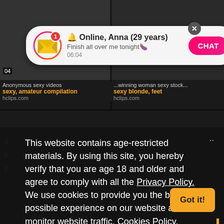[Figure (screenshot): Dark website background with two video thumbnail areas showing adult content listings]
Anonymous... sexy, amateur compilation hclips.com
...winning woman sexy stock... sexy blonde, feet hclips.com
[Figure (screenshot): Browser notification popup with envelope icon, badge '1', name 'Online, Anna (29 years)', message 'Finish all over me tonight', timestamp '06:04', and pink CHAT button]
This website contains age-restricted materials. By using this site, you hereby verify that you are age 18 and older and agree to comply with all the Privacy Policy. We use cookies to provide you the best possible experience on our website and to monitor website traffic. Cookies Policy.